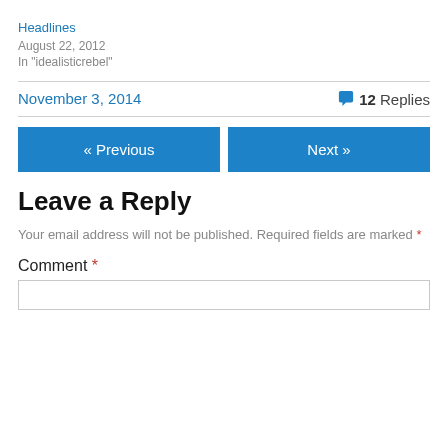Headlines
August 22, 2012
In "idealisticrebel"
November 3, 2014
12 Replies
« Previous
Next »
Leave a Reply
Your email address will not be published. Required fields are marked *
Comment *